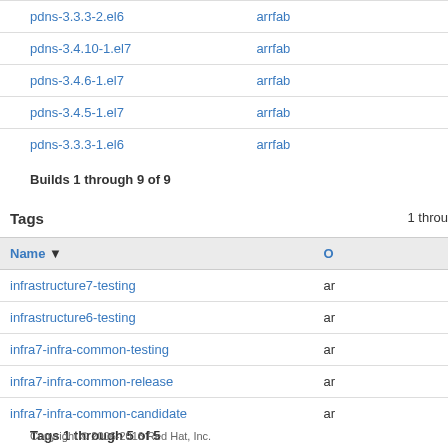| Name | Owner |
| --- | --- |
| pdns-3.3.3-2.el6 | arrfab |
| pdns-3.4.10-1.el7 | arrfab |
| pdns-3.4.6-1.el7 | arrfab |
| pdns-3.4.5-1.el7 | arrfab |
| pdns-3.3.3-1.el6 | arrfab |
Builds 1 through 9 of 9
Tags
1 throu
| Name ▼ | O |
| --- | --- |
| infrastructure7-testing | ar |
| infrastructure6-testing | ar |
| infra7-infra-common-testing | ar |
| infra7-infra-common-release | ar |
| infra7-infra-common-candidate | ar |
Tags 1 through 5 of 5
Copyright © 2006-2016 Red Hat, Inc.